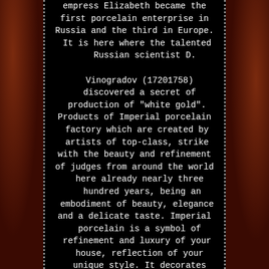empress Elizabeth became the first porcelain enterprise in Russia and the third in Europe. It is here where the talented Russian scientist D.

Vinogradov (17201758) discovered a secret of production of "white gold". Products of Imperial porcelain factory which are created by artists of top-class, strike with the beauty and refinement of judges from around the world here already nearly three hundred years, being an embodiment of beauty, elegance and a delicate taste. Imperial porcelain is a symbol of refinement and luxury of your house, reflection of your unique style. It decorates interiors of houses of persons, whose taste doesn't raise doubts. Among them the former first lady of the USA Laura Bush, the former first lady of